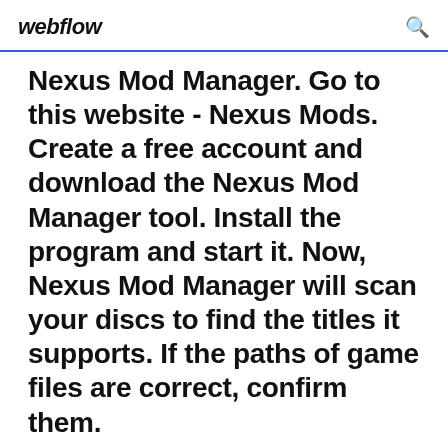webflow
Nexus Mod Manager. Go to this website - Nexus Mods. Create a free account and download the Nexus Mod Manager tool. Install the program and start it. Now, Nexus Mod Manager will scan your discs to find the titles it supports. If the paths of game files are correct, confirm them.
3 Nov 2016 There are two main methods of installing mods: manually or via a program such as the Nexus Mod Manager. If you're playing on console. 4 Jul 2018 Downloaded the Nexus Mod